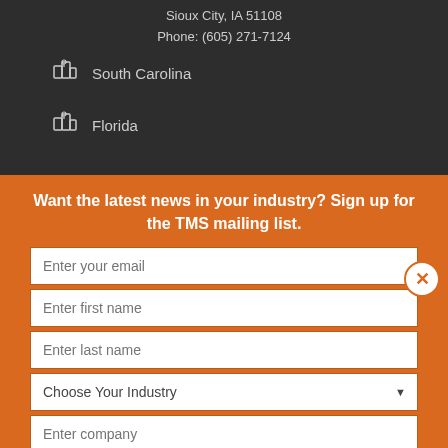Sioux City, IA 51108
Phone: (605) 271-7124
South Carolina
Florida
Want the latest news in your industry? Sign up for the TMS mailing list.
Enter your email
Enter first name
Enter last name
Choose Your Industry
Enter company
Subscribe